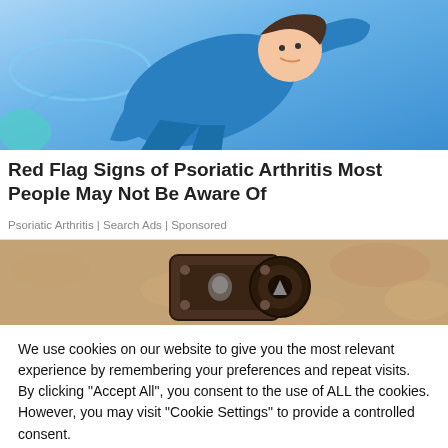[Figure (illustration): Cartoon illustration of a person in a blue suit/jumpsuit lying or running, shown from waist up, on a light background with some teal/blue swirl elements]
Red Flag Signs of Psoriatic Arthritis Most People May Not Be Aware Of
Psoriatic Arthritis | Search Ads | Sponsored
[Figure (photo): Photo of a close-up of a metal lock or door hardware mounted on a textured beige/tan stucco wall]
We use cookies on our website to give you the most relevant experience by remembering your preferences and repeat visits. By clicking "Accept All", you consent to the use of ALL the cookies. However, you may visit "Cookie Settings" to provide a controlled consent.